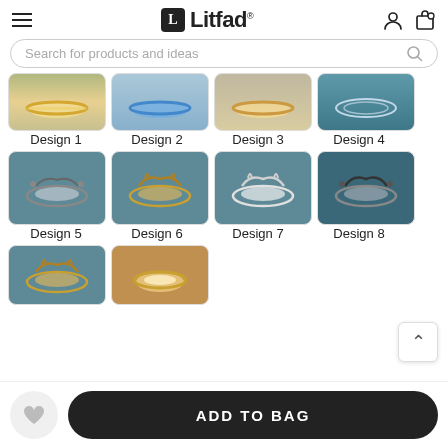Litfad
Search for products and ideas
[Figure (photo): Design 1 - ceiling light with gold ring, warm glow, viewed from below]
Design 1
[Figure (photo): Design 2 - ceiling light with blue accent ring, viewed from below]
Design 2
[Figure (photo): Design 3 - ceiling light with warm ring, viewed from below]
Design 3
[Figure (photo): Design 4 - crystal ceiling light, viewed from below on teal background]
Design 4
[Figure (photo): Design 5 - crown-shaped crystal ceiling light on teal background]
Design 5
[Figure (photo): Design 6 - gold crown ceiling light on teal background]
Design 6
[Figure (photo): Design 7 - white crown ceiling light on teal background]
Design 7
[Figure (photo): Design 8 - black and silver crown ceiling light on teal background]
Design 8
[Figure (photo): Design 9 - gold crown ceiling light partial view]
[Figure (photo): Design 10 - warm glowing ceiling light partial view]
ADD TO BAG